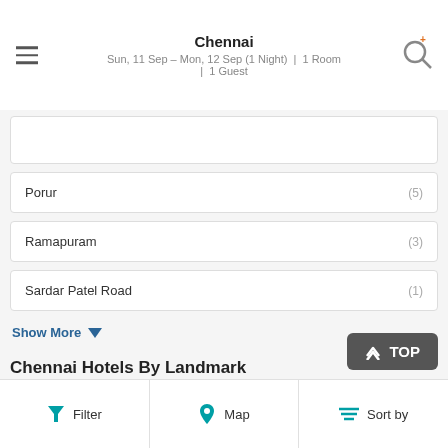Chennai
Sun, 11 Sep – Mon, 12 Sep (1 Night) | 1 Room | 1 Guest
Porur (5)
Ramapuram (3)
Sardar Patel Road (1)
Show More
Chennai Hotels By Landmark
Ambattur Industrial Estate Mtc Bus Terminus (1)
Avm Film Studio (1)
Ayapakkam Bus Terminus
Filter | Map | Sort by